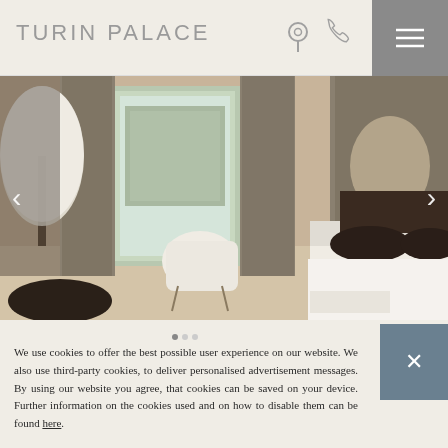TURIN PALACE
[Figure (photo): Hotel room interior with elegant furnishings, a window with curtains, a white armchair, and a bed with dark pillows. Carousel with left and right navigation arrows.]
We use cookies to offer the best possible user experience on our website. We also use third-party cookies, to deliver personalised advertisement messages. By using our website you agree, that cookies can be saved on your device. Further information on the cookies used and on how to disable them can be found here.